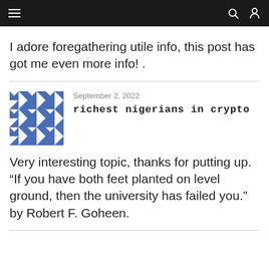≡  🔍 👤
I adore foregathering utile info, this post has got me even more info! .
September 2, 2022
richest nigerians in crypto
Very interesting topic, thanks for putting up. “If you have both feet planted on level ground, then the university has failed you.” by Robert F. Goheen.